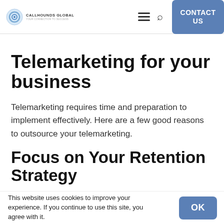CALLHOUNDS GLOBAL | CONTACT US
Telemarketing for your business
Telemarketing requires time and preparation to implement effectively. Here are a few good reasons to outsource your telemarketing.
Focus on Your Retention Strategy
This website uses cookies to improve your experience. If you continue to use this site, you agree with it.